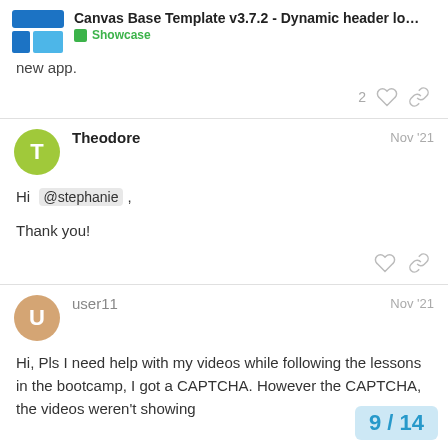Canvas Base Template v3.7.2 - Dynamic header lo... | Showcase
new app.
2 [like] [link]
Theodore  Nov '21
Hi @stephanie ,

Thank you!
[like] [link]
user11  Nov '21
Hi, Pls I need help with my videos while following the lessons in the bootcamp, I got a CAPTCHA. However the CAPTCHA, the videos weren't showing
9 / 14